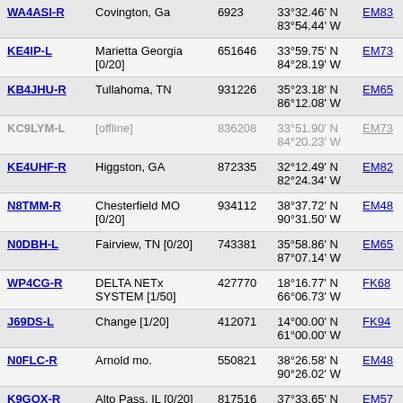| Callsign | Location | Node | Coordinates | Grid |
| --- | --- | --- | --- | --- |
| WA4ASI-R | Covington, Ga | 6923 | 33°32.46' N 83°54.44' W | EM83… |
| KE4IP-L | Marietta Georgia [0/20] | 651646 | 33°59.75' N 84°28.19' W | EM73… |
| KB4JHU-R | Tullahoma, TN | 931226 | 35°23.18' N 86°12.08' W | EM65… |
| KC9LYM-L | [offline] | 836208 | 33°51.90' N 84°20.23' W | EM73… |
| KE4UHF-R | Higgston, GA | 872335 | 32°12.49' N 82°24.34' W | EM82… |
| N8TMM-R | Chesterfield MO [0/20] | 934112 | 38°37.72' N 90°31.50' W | EM48… |
| N0DBH-L | Fairview, TN [0/20] | 743381 | 35°58.86' N 87°07.14' W | EM65… |
| WP4CG-R | DELTA NETx SYSTEM [1/50] | 427770 | 18°16.77' N 66°06.73' W | FK68… |
| J69DS-L | Change [1/20] | 412071 | 14°00.00' N 61°00.00' W | FK94… |
| N0FLC-R | Arnold mo. | 550821 | 38°26.58' N 90°26.02' W | EM48… |
| K9GOX-R | Alto Pass, IL [0/20] | 817516 | 37°33.65' N 89°18.32' W | EM57… |